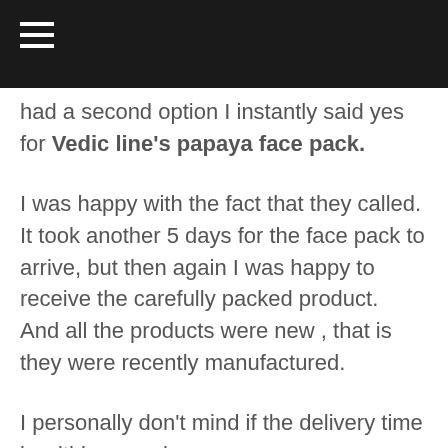had a second option I instantly said yes for Vedic line's papaya face pack.
I was happy with the fact that they called. It took another 5 days for the face pack to arrive, but then again I was happy to receive the carefully packed product.  And all the products were new , that is they were recently manufactured.
I personally don't mind if the delivery time is within a week